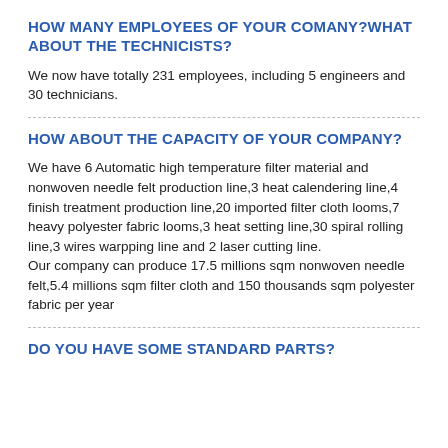HOW MANY EMPLOYEES OF YOUR COMANY?WHAT ABOUT THE TECHNICISTS?
We now have totally 231 employees, including 5 engineers and 30 technicians.
HOW ABOUT THE CAPACITY OF YOUR COMPANY?
We have 6 Automatic high temperature filter material and nonwoven needle felt production line,3 heat calendering line,4 finish treatment production line,20 imported filter cloth looms,7 heavy polyester fabric looms,3 heat setting line,30 spiral rolling line,3 wires warpping line and 2 laser cutting line.
Our company can produce 17.5 millions sqm nonwoven needle felt,5.4 millions sqm filter cloth and 150 thousands sqm polyester fabric per year
DO YOU HAVE SOME STANDARD PARTS?